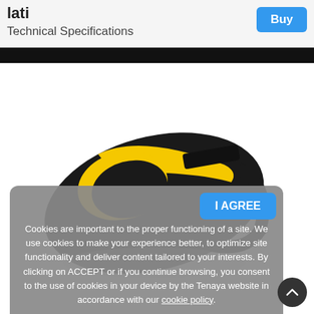lati   Technical Specifications   Buy
[Figure (photo): Partial view of a black and yellow climbing shoe (Tenaya lati), showing the toe area and strap, against a white background.]
I AGREE
Cookies are important to the proper functioning of a site. We use cookies to make your experience better, to optimize site functionality and deliver content tailored to your interests. By clicking on ACCEPT or if you continue browsing, you consent to the use of cookies in your device by the Tenaya website in accordance with our cookie policy.